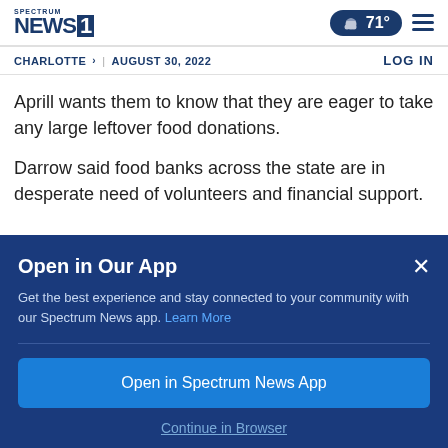Spectrum NEWS 1 | 71° | CHARLOTTE > | AUGUST 30, 2022 | LOG IN
Aprill wants them to know that they are eager to take any large leftover food donations.
Darrow said food banks across the state are in desperate need of volunteers and financial support.
Open in Our App
Get the best experience and stay connected to your community with our Spectrum News app. Learn More
Open in Spectrum News App
Continue in Browser